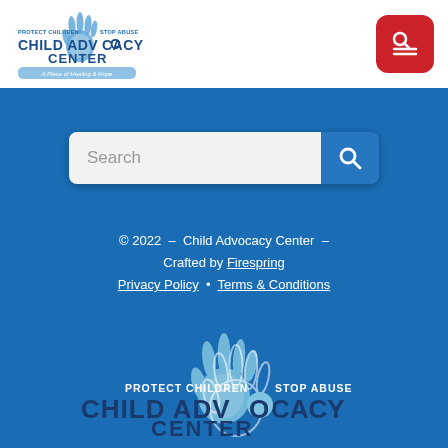[Figure (logo): Child Advocacy Center logo — blue hand print graphic, text 'PROTECT CHILDREN STOP ABUSE', 'CHILD ADVOCACY CENTER', tagline 'A Place of Healing & Hope']
[Figure (other): Red rounded square menu/search icon button with white search and hamburger icons]
[Figure (other): Search bar input field with blue search button]
© 2022 – Child Advocacy Center – Crafted by Firespring
Privacy Policy • Terms & Conditions
[Figure (logo): Child Advocacy Center logo — large version at bottom, blue/white, 'PROTECT CHILDREN STOP ABUSE', 'CHILD ADVOCACY CENTER']